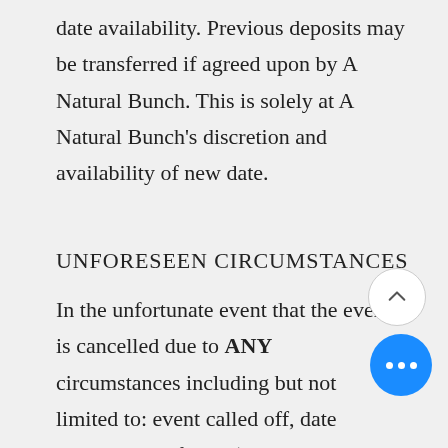date availability. Previous deposits may be transferred if agreed upon by A Natural Bunch. This is solely at A Natural Bunch's discretion and availability of new date.
UNFORESEEN CIRCUMSTANCES
In the unfortunate event that the event is cancelled due to ANY circumstances including but not limited to: event called off, date change, Act of God (car accident, severe weather, death in family, pandemic), the client agrees to that